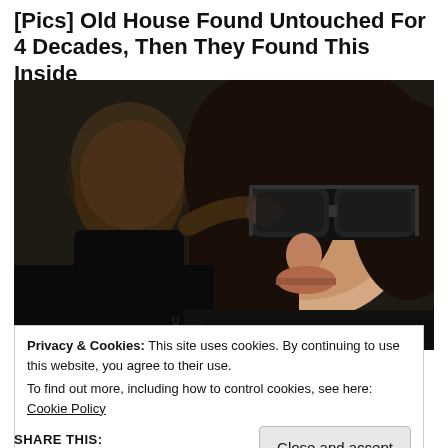[Pics] Old House Found Untouched For 4 Decades, Then They Found This Inside
TheDecorIdeas
[Figure (photo): A woman with dark hair and large sunglasses holding a young child, both photographed in close-up outdoors.]
Privacy & Cookies: This site uses cookies. By continuing to use this website, you agree to their use.
To find out more, including how to control cookies, see here: Cookie Policy
Close and accept
SHARE THIS: